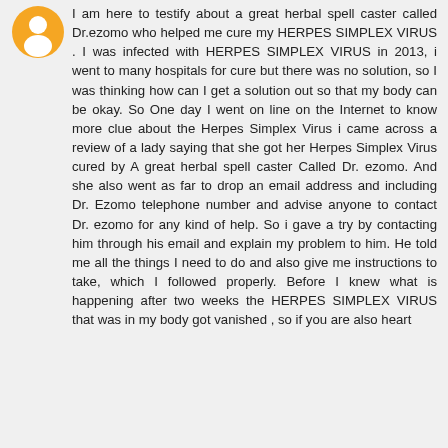[Figure (illustration): Orange circular avatar icon with a white blogger/person silhouette in the center]
I am here to testify about a great herbal spell caster called Dr.ezomo who helped me cure my HERPES SIMPLEX VIRUS . I was infected with HERPES SIMPLEX VIRUS in 2013, i went to many hospitals for cure but there was no solution, so I was thinking how can I get a solution out so that my body can be okay. So One day I went on line on the Internet to know more clue about the Herpes Simplex Virus i came across a review of a lady saying that she got her Herpes Simplex Virus cured by A great herbal spell caster Called Dr. ezomo. And she also went as far to drop an email address and including Dr. Ezomo telephone number and advise anyone to contact Dr. ezomo for any kind of help. So i gave a try by contacting him through his email and explain my problem to him. He told me all the things I need to do and also give me instructions to take, which I followed properly. Before I knew what is happening after two weeks the HERPES SIMPLEX VIRUS that was in my body got vanished , so if you are also heart